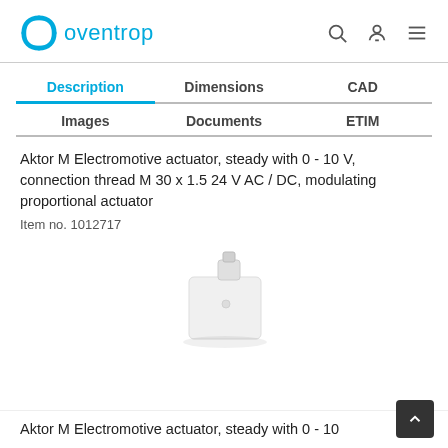oventrop
Description | Dimensions | CAD | Images | Documents | ETIM
Aktor M Electromotive actuator, steady with 0 - 10 V, connection thread M 30 x 1.5 24 V AC / DC, modulating proportional actuator
Item no. 1012717
[Figure (photo): White electromotive actuator product photo, Aktor M, compact rectangular device with a mounting connector on top]
Aktor M Electromotive actuator, steady with 0 - 10